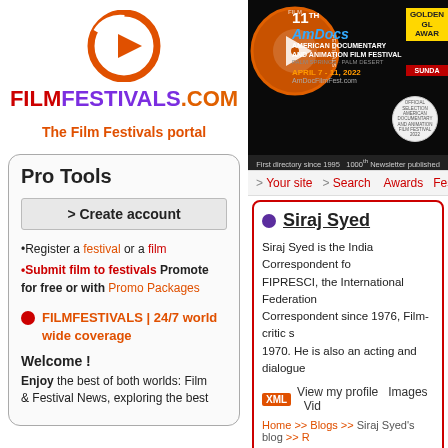[Figure (logo): FilmFestivals.com logo with orange play button icon and purple/red/orange text]
The Film Festivals portal
[Figure (photo): 11th AmDocs American Documentary and Animation Film Festival banner, April 7-11 2022, Palm Springs Palm Desert, with film reel graphic]
> Your site  > Search  Awards  Fes...
Pro Tools
> Create account
•Register a festival or a film
•Submit film to festivals Promote for free or with Promo Packages
FILMFESTIVALS | 24/7 world wide coverage
Welcome !
Enjoy the best of both worlds: Film & Festival News, exploring the best...
Siraj Syed
Siraj Syed is the India Correspondent fo... FIPRESCI, the International Federation... Correspondent since 1976, Film-critic s... 1970. He is also an acting and dialogue...
XML  View my profile  Images  Vid...
Home >> Blogs >> Siraj Syed's blog >> R...
Red Sparrow, Revi...